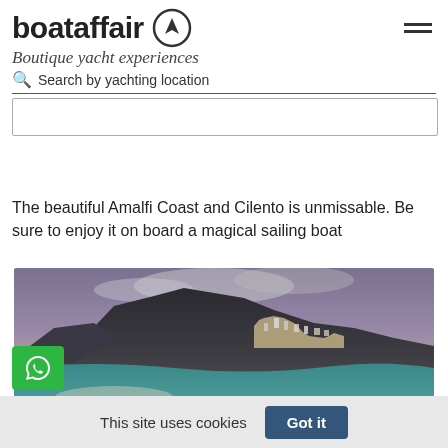boataffair
Boutique yacht experiences
Search by yachting location
The beautiful Amalfi Coast and Cilento is unmissable. Be sure to enjoy it on board a magical sailing boat
[Figure (photo): Panoramic photo of the Amalfi Coast showing the town built into dramatic rocky cliffs descending to a turquoise sea, with large boulders in the foreground and dramatic cloudy sky above.]
This site uses cookies
Got it